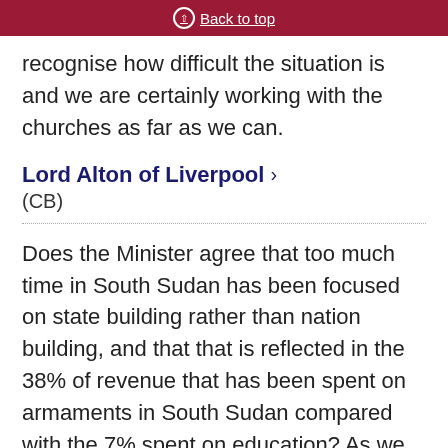Back to top
recognise how difficult the situation is and we are certainly working with the churches as far as we can.
Lord Alton of Liverpool
(CB)
Does the Minister agree that too much time in South Sudan has been focused on state building rather than nation building, and that that is reflected in the 38% of revenue that has been spent on armaments in South Sudan compared with the 7% spent on education? As we approach the peace process, will he ensure, as the noble Baroness, Lady Hodgson, argued, and as the noble Lord, Lord Boateng, has just said, that the representative nature of the